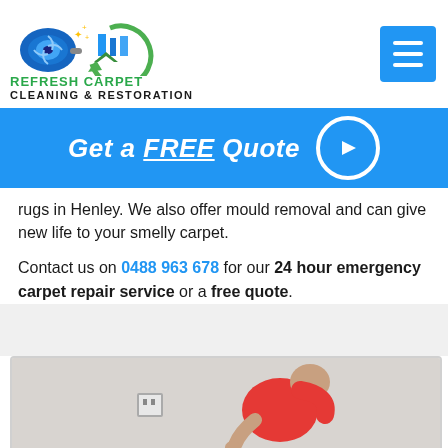[Figure (logo): Refresh Carpet Cleaning & Restoration logo with fan/blower machine and building graphic]
REFRESH CARPET
CLEANING & RESTORATION
[Figure (infographic): Blue banner with text 'Get a FREE Quote' and white circle arrow button]
rugs in Henley. We also offer mould removal and can give new life to your smelly carpet.
Contact us on 0488 963 678 for our 24 hour emergency carpet repair service or a free quote.
[Figure (photo): Man in red shirt bending over working near a wall with a power outlet]